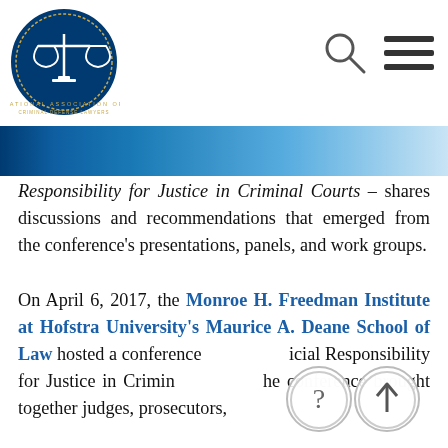[Figure (logo): National Association of Criminal Defense Lawyers circular logo with scales of justice]
[Figure (other): Search icon (magnifying glass) in page header]
[Figure (other): Hamburger menu icon in page header]
[Figure (other): Blue gradient banner bar]
Responsibility for Justice in Criminal Courts – shares discussions and recommendations that emerged from the conference's presentations, panels, and work groups.
On April 6, 2017, the Monroe H. Freedman Institute at Hofstra University's Maurice A. Deane School of Law hosted a conference called Judicial Responsibility for Justice in Criminal Courts. The conference brought together judges, prosecutors,